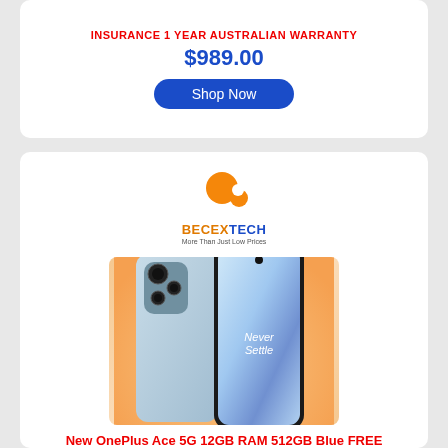INSURANCE 1 YEAR AUSTRALIAN WARRANTY
$989.00
Shop Now
[Figure (logo): BECEXTECH logo with orange bubble mascot and tagline More Than Just Low Prices]
[Figure (photo): OnePlus Ace 5G smartphone shown front and back in blue color on orange-pink gradient background with Never Settle text on screen]
New OnePlus Ace 5G 12GB RAM 512GB Blue FREE